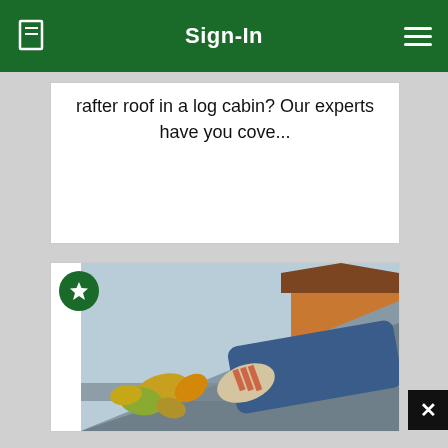Sign-In
rafter roof in a log cabin? Our experts have you cove...
[Figure (photo): Person in blue jacket and work gloves cleaning leaves from a metal roof gutter, with a building visible in the background]
[Figure (other): Close button (X) in bottom-right corner]